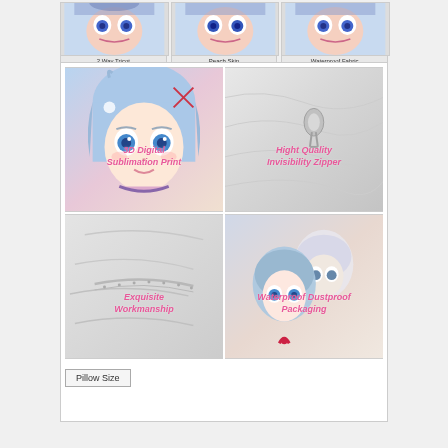[Figure (photo): Three fabric material comparison images showing 2 Way Tricot, Peach Skin, and Waterproof Fabric with anime character face close-ups on each]
[Figure (infographic): 2x2 grid of product feature images: 3D Digital Sublimation Print (anime character face), Hight Quality Invisibility Zipper (fabric close-up with zipper), Exquisite Workmanship (white fabric close-up), Waterproof Dustproof Packaging (anime characters in packaging)]
Pillow Size